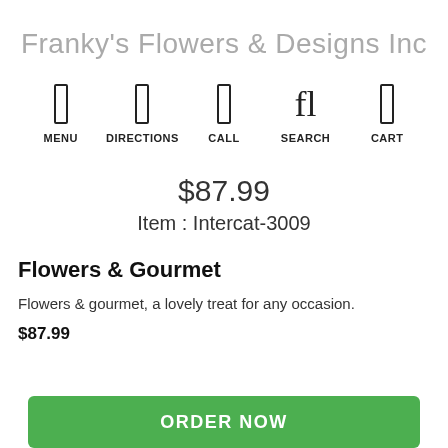Franky's Flowers & Designs Inc
MENU
DIRECTIONS
CALL
SEARCH
CART
$87.99
Item : Intercat-3009
Flowers & Gourmet
Flowers & gourmet, a lovely treat for any occasion.
$87.99
ORDER NOW